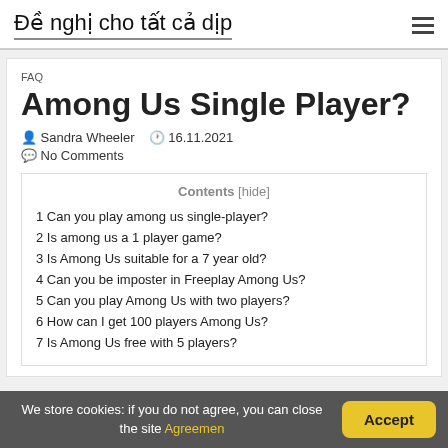Đề nghị cho tất cả dịp
FAQ
Among Us Single Player?
Sandra Wheeler  16.11.2021
No Comments
1 Can you play among us single-player?
2 Is among us a 1 player game?
3 Is Among Us suitable for a 7 year old?
4 Can you be imposter in Freeplay Among Us?
5 Can you play Among Us with two players?
6 How can I get 100 players Among Us?
7 Is Among Us free with 5 players?
We store cookies: if you do not agree, you can close the site Agreemen